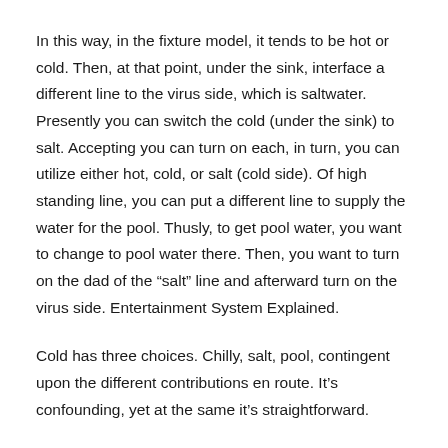In this way, in the fixture model, it tends to be hot or cold. Then, at that point, under the sink, interface a different line to the virus side, which is saltwater. Presently you can switch the cold (under the sink) to salt. Accepting you can turn on each, in turn, you can utilize either hot, cold, or salt (cold side). Of high standing line, you can put a different line to supply the water for the pool. Thusly, to get pool water, you want to change to pool water there. Then, you want to turn on the dad of the “salt” line and afterward turn on the virus side. Entertainment System Explained.
Cold has three choices. Chilly, salt, pool, contingent upon the different contributions en route. It’s confounding, yet at the same it’s straightforward.
So at whatever point you can’t understand your thought process, then looking at your side “into a cola brand”